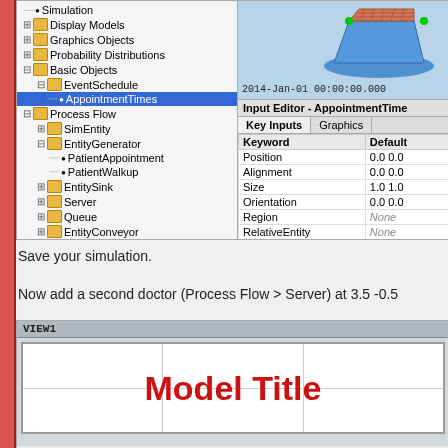[Figure (screenshot): Software simulation environment showing a tree view panel on the left with nodes: Simulation, Display Models, Graphics Objects, Probability Distributions, Basic Objects (with EventSchedule > AppointmentTimes selected), Process Flow (with SimEntity, EntityGenerator > PatientAppointment, PatientWalkup, EntitySink, Server, Queue, EntityConveyor, Statistics). Right side shows a 3D view with a 3D shape and timestamp '2014-Jan-01 00:00:00.000', and an Input Editor for AppointmentTimes showing Key Inputs/Graphics tabs and a table with Keyword/Default columns listing Position (0.0 0.0), Alignment (0.0 0.0), Size (1.0 1.0), Orientation (0.0 0.0), Region (None), RelativeEntity (None), DisplayModel (EventSc...), Show (TRUE).]
Save your simulation.
Now add a second doctor (Process Flow > Server) at 3.5 -0.5
[Figure (screenshot): Bottom screenshot showing a view titled 'VIEW1' with a white area containing 'Model Title' text in large bold red font.]